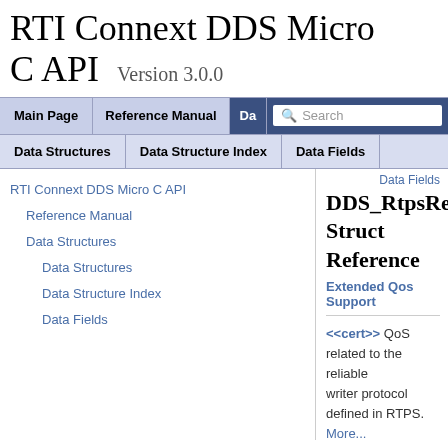RTI Connext DDS Micro C API Version 3.0.0
Main Page | Reference Manual | Da... | Search
Data Structures | Data Structure Index | Data Fields
RTI Connext DDS Micro C API
Reference Manual
Data Structures
Data Structures
Data Structure Index
Data Fields
Data Fields
DDS_RtpsRelia Struct Reference
Extended Qos Support
<<cert>> QoS related to the reliable writer protocol defined in RTPS. More...
#include <dds_c_infrastruct...